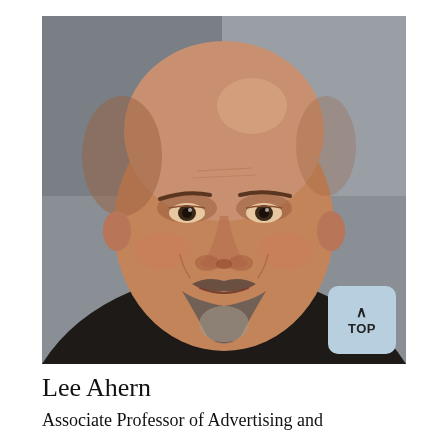[Figure (photo): Headshot of a middle-aged bald man with grey-brown stubble beard and mustache, wearing a dark blazer and blue shirt, smiling slightly against a grey background.]
Lee Ahern
Associate Professor of Advertising and